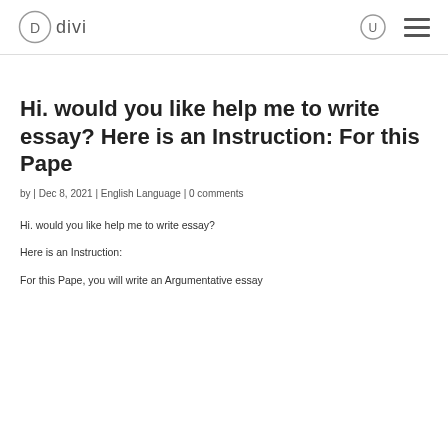divi
Hi. would you like help me to write essay? Here is an Instruction: For this Pape
by | Dec 8, 2021 | English Language | 0 comments
Hi. would you like help me to write essay?
Here is an Instruction:
For this Pape, you will write an Argumentative essay